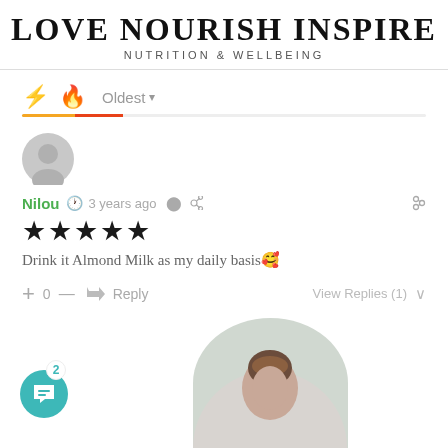LOVE NOURISH INSPIRE
NUTRITION & WELLBEING
⚡ 🔥 Oldest ▾
[Figure (photo): Grey circular avatar placeholder icon]
Nilou  🕐 3 years ago  ◀ (share icon)  🔗
★★★★★
Drink it Almond Milk as my daily basis🥰
+ 0 — ➜ Reply    View Replies (1) ∨
[Figure (photo): Person photo in circular frame at bottom center, with teal chat bubble button showing badge number 2 in bottom left]